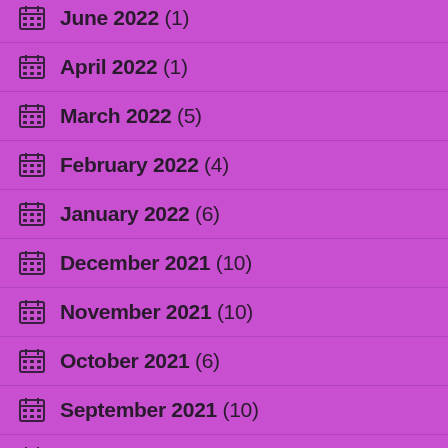June 2022 (1)
April 2022 (1)
March 2022 (5)
February 2022 (4)
January 2022 (6)
December 2021 (10)
November 2021 (10)
October 2021 (6)
September 2021 (10)
August 2021 (6)